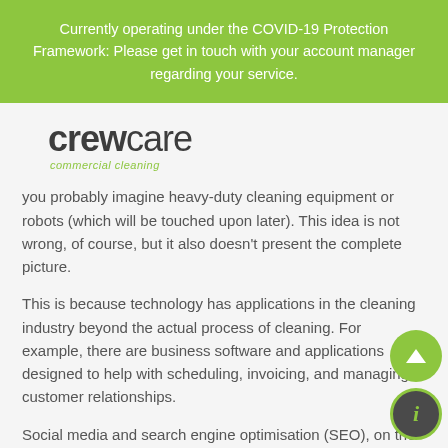Currently operating under the COVID-19 Protection Framework: Please get in touch with your account manager regarding your service.
[Figure (logo): CrewCare commercial cleaning logo. 'crew' in bold dark gray, 'care' in light weight dark gray, with 'commercial cleaning' in green italic below.]
you probably imagine heavy-duty cleaning equipment or robots (which will be touched upon later). This idea is not wrong, of course, but it also doesn't present the complete picture.
This is because technology has applications in the cleaning industry beyond the actual process of cleaning. For example, there are business software and applications designed to help with scheduling, invoicing, and managing customer relationships.
Social media and search engine optimisation (SEO), on the other hand, play key roles in marketing and advertising. By following the best practices in creating content, you'll be d...